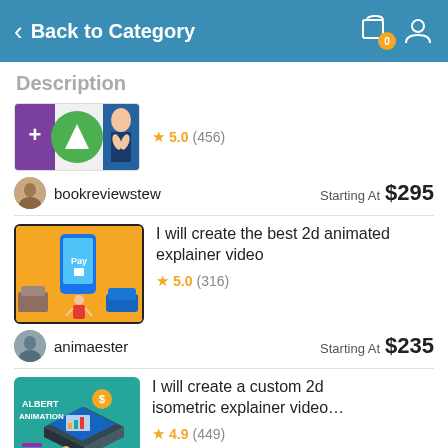Back to Category
Description
[Figure (screenshot): Partial thumbnail of a gig listing showing logos and a person in a suit]
★ 5.0 (456)
bookreviewstew    Starting At  $295
[Figure (screenshot): Thumbnail showing a 2D animated explainer video scene with a phone, furniture and a character on yellow background]
I will create the best 2d animated explainer video
★ 5.0 (316)
animaester    Starting At  $235
[Figure (screenshot): Thumbnail for Albert Animation showing isometric laptop and character on teal background]
I will create a custom 2d isometric explainer video…
★ 4.9 (449)
albertanimation    Starting At  $400